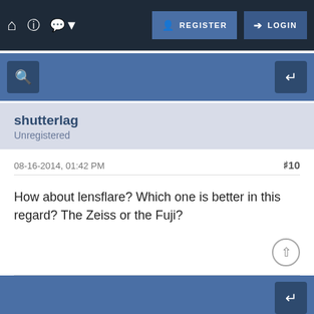REGISTER  LOGIN
[Figure (screenshot): Blue toolbar with zoom/search icon on left and reply icon on right]
shutterlag
Unregistered
08-16-2014, 01:42 PM    #10
How about lensflare? Which one is better in this regard? The Zeiss or the Fuji?
[Figure (screenshot): Blue bottom toolbar with reply icon on right]
Enter Keywords    Search Thread